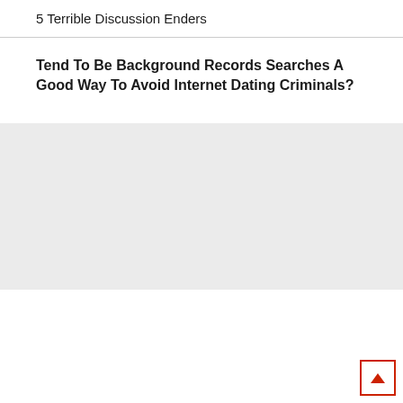5 Terrible Discussion Enders
Tend To Be Background Records Searches A Good Way To Avoid Internet Dating Criminals?